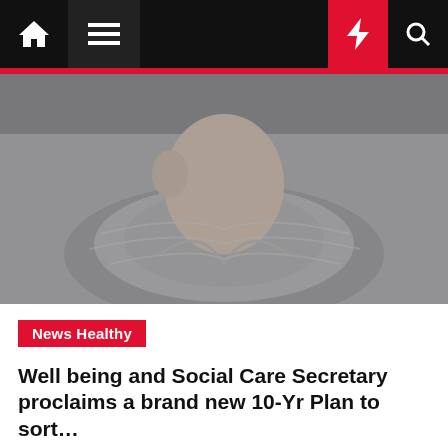Navigation bar with home, menu, moon, bolt, and search icons
[Figure (photo): Black and white close-up photo of an elderly person wearing a light jacket and a grey scarf, seen from below the face]
News Healthy
Well being and Social Care Secretary proclaims a brand new 10-Yr Plan to sort…
Delly Bezoss  21 mins ago
A brand new 10-Yr Plan to sort out dementia can be printed later this 12 months, Well being and Social Care Secretary Sajid Javid confirmed right now (Tuesday 17 Could 2022). Talking at Alzheimer's Society Convention 2022 the Well being and Social Care Secretary confirmed the